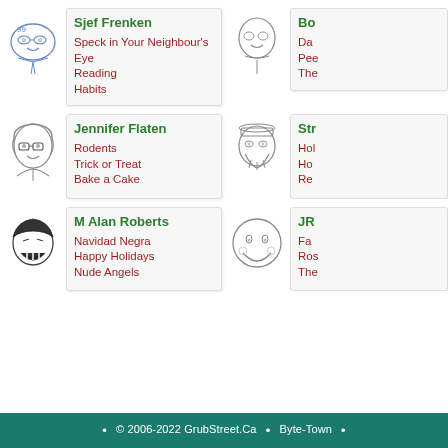[Figure (illustration): Cartoon sketch of Sjef Frenken - simple line drawing of a bespectacled figure]
Sjef Frenken
Speck in Your Neighbour's Eye
Reading
Habits
[Figure (illustration): Cartoon sketch of second author (partially visible) - man with glasses]
Bo...
Da...
Pee...
The...
[Figure (illustration): Cartoon sketch of Jennifer Flaten - woman with glasses]
Jennifer Flaten
Rodents
Trick or Treat
Bake a Cake
[Figure (illustration): Cartoon sketch of fourth author (partially visible) - man with beard and hat]
Str...
Hol...
Ho...
Re...
[Figure (illustration): Cartoon sketch of M Alan Roberts - laughing person with head covering]
M Alan Roberts
Navidad Negra
Happy Holidays
Nude Angels
[Figure (illustration): Cartoon sketch of JR... - round smiling face]
JR...
Fa...
Ros...
The...
© 2006-2022 GrubStreet.Ca • Byte-Town •